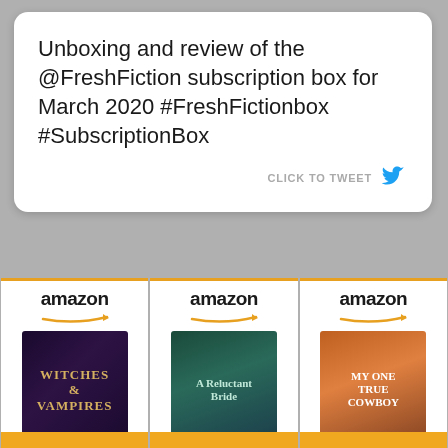Unboxing and review of the @FreshFiction subscription box for March 2020 #FreshFictionbox #SubscriptionBox
[Figure (screenshot): Twitter bird icon in blue for click to tweet button]
[Figure (screenshot): Amazon product listing for 'Witches and Vampires' book cover, price $7.49]
[Figure (screenshot): Amazon product listing for 'A Reluctant Bride (The...)' book cover, price $4.99]
[Figure (screenshot): Amazon product listing for 'My One True Cowboy: A...' book cover, price $8.82]